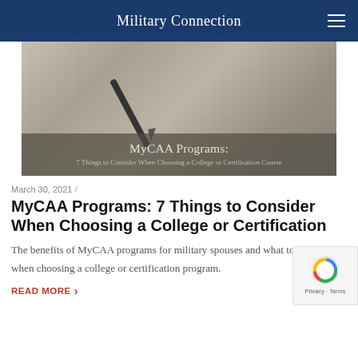Military Connection
[Figure (photo): Notebook with pen on grid paper, with overlay text reading: MyCAA Programs: 7 Things to Consider When Choosing a College or Certification Course]
March 30, 2021 /
MyCAA Programs: 7 Things to Consider When Choosing a College or Certification
The benefits of MyCAA programs for military spouses and what to consider when choosing a college or certification program.
READ MORE